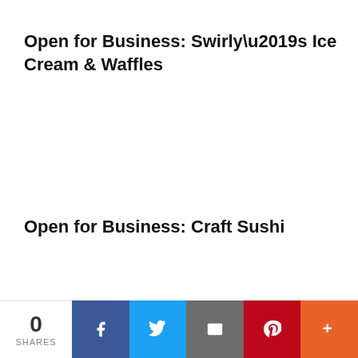Open for Business: Swirly’s Ice Cream & Waffles
Open for Business: Craft Sushi
0 SHARES | Facebook | Twitter | Email | Pinterest | More